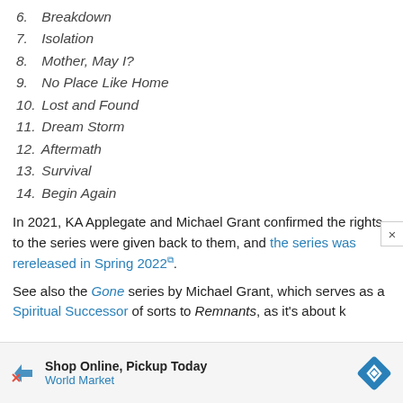6. Breakdown
7. Isolation
8. Mother, May I?
9. No Place Like Home
10. Lost and Found
11. Dream Storm
12. Aftermath
13. Survival
14. Begin Again
In 2021, KA Applegate and Michael Grant confirmed the rights to the series were given back to them, and the series was rereleased in Spring 2022.
See also the Gone series by Michael Grant, which serves as a Spiritual Successor of sorts to Remnants, as it's about k